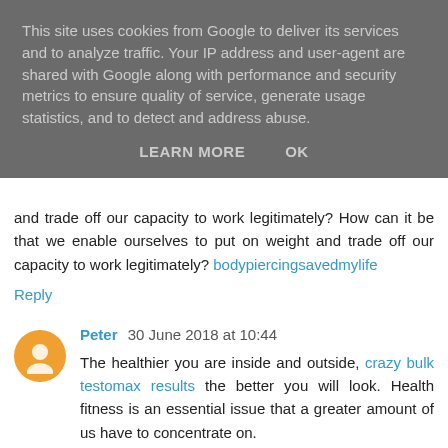This site uses cookies from Google to deliver its services and to analyze traffic. Your IP address and user-agent are shared with Google along with performance and security metrics to ensure quality of service, generate usage statistics, and to detect and address abuse.
LEARN MORE    OK
and trade off our capacity to work legitimately? How can it be that we enable ourselves to put on weight and trade off our capacity to work legitimately? bodypiercingsavedmylife
Reply
Peter  30 June 2018 at 10:44
The healthier you are inside and outside, crazy bulk testomax results the better you will look. Health fitness is an essential issue that a greater amount of us have to concentrate on.
Reply